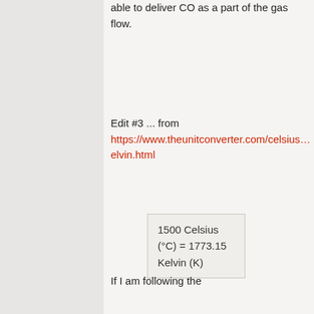able to deliver CO as a part of the gas flow.
Edit #3 ... from https://www.theunitconverter.com/celsius… elvin.html
1500 Celsius (°C) = 1773.15 Kelvin (K)
If I am following the